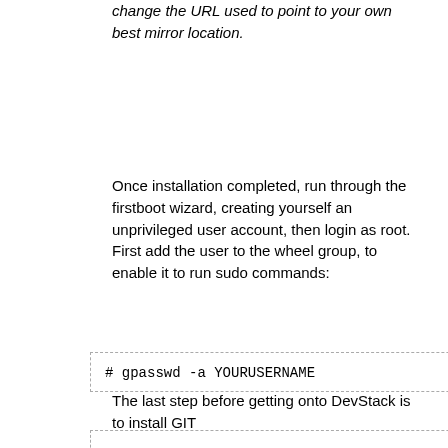change the URL used to point to your own best mirror location.
Once installation completed, run through the firstboot wizard, creating yourself an unprivileged user account, then login as root. First add the user to the wheel group, to enable it to run sudo commands:
# gpasswd -a YOURUSERNAME wheel
The last step before getting onto DevStack is to install GIT